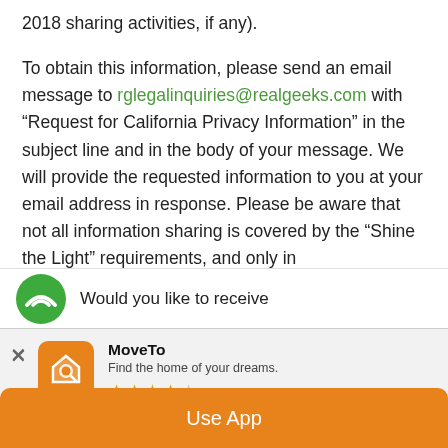2018 sharing activities, if any).
To obtain this information, please send an email message to rglegalinquiries@realgeeks.com with “Request for California Privacy Information” in the subject line and in the body of your message. We will provide the requested information to you at your email address in response. Please be aware that not all information sharing is covered by the “Shine the Light” requirements, and only in[formation sharing will be included...]
[Figure (screenshot): App install banner showing MoveTo app with orange house/magnifier icon, 3.5 star rating, tagline 'Find the home of your dreams.' and partial green circle icon with 'Would you like to receive' text, plus orange 'Use App' button at bottom. Close X button on left.]